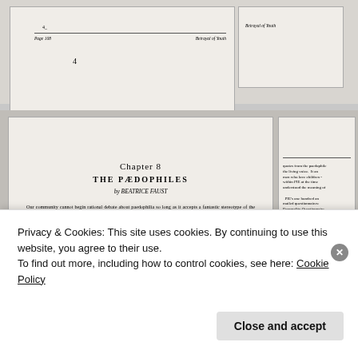Page 108    Betrayal of Youth
Betrayal of Youth
Chapter 8
THE PÆDOPHILES
by BEATRICE FAUST
Our community cannot begin rational debate about paedophilia so long as it accepts a fantastic stereotype of the paedophile, imagining a dirty old man, mentally sick, or at the very least, alcoholic or senile. Using sweets, money or guile to lure innocent children to lonely places, he then does unspeakable things to them, often rounding off the awful business with sadistic murder.
quotes from the paedophile the living voice. It an men who love children - within PIE at the time understood the meaning of
PIE's one hundred an mailed questionnaires: Personality Questionnaire Questionnaire (PQ), Sev toilwed up far fair-to-f a higher professional st the general population. the paedophile on to the noe the paedophile
Privacy & Cookies: This site uses cookies. By continuing to use this website, you agree to their use.
To find out more, including how to control cookies, see here: Cookie Policy
Close and accept